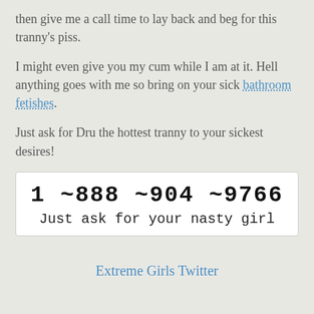then give me a call time to lay back and beg for this tranny's piss.
I might even give you my cum while I am at it. Hell anything goes with me so bring on your sick bathroom fetishes.
Just ask for Dru the hottest tranny to your sickest desires!
1 ~888 ~904 ~9766
Just ask for your nasty girl
Extreme Girls Twitter